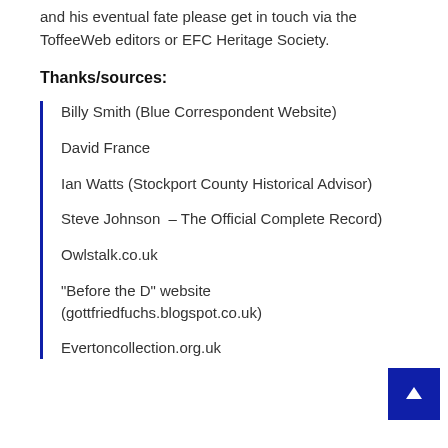and his eventual fate please get in touch via the ToffeeWeb editors or EFC Heritage Society.
Thanks/sources:
Billy Smith (Blue Correspondent Website)
David France
Ian Watts (Stockport County Historical Advisor)
Steve Johnson  (Everton – The Official Complete Record)
Owlstalk.co.uk
"Before the D" website (gottfriedfuchs.blogspot.co.uk)
Evertoncollection.org.uk